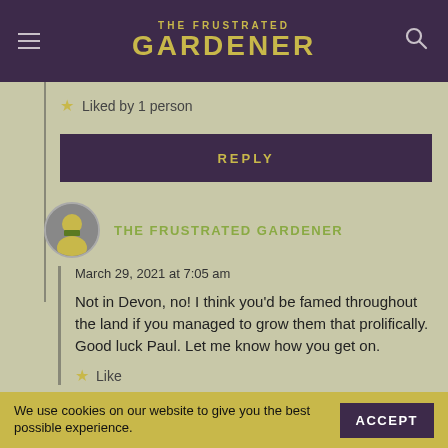THE FRUSTRATED GARDENER
Liked by 1 person
REPLY
THE FRUSTRATED GARDENER
March 29, 2021 at 7:05 am
Not in Devon, no! I think you'd be famed throughout the land if you managed to grow them that prolifically. Good luck Paul. Let me know how you get on.
Like
We use cookies on our website to give you the best possible experience.